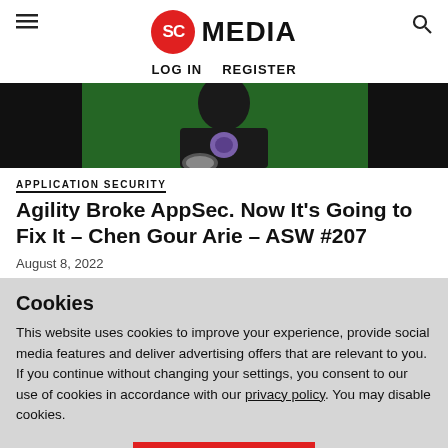SC MEDIA | LOG IN | REGISTER
[Figure (photo): Person wearing dark t-shirt in front of green background, at a podcast/studio setting]
APPLICATION SECURITY
Agility Broke AppSec. Now It's Going to Fix It – Chen Gour Arie – ASW #207
August 8, 2022
In today's high-tech industries, security is struggling to keep up with rapidly
Cookies
This website uses cookies to improve your experience, provide social media features and deliver advertising offers that are relevant to you. If you continue without changing your settings, you consent to our use of cookies in accordance with our privacy policy. You may disable cookies.
Accept Cookies